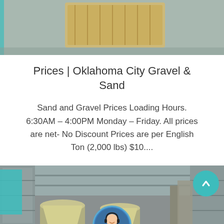[Figure (photo): Industrial warehouse or facility photo showing wooden crate/pallet on a concrete floor with teal/green accent, viewed from above and slightly cut off at top.]
Prices | Oklahoma City Gravel & Sand
Sand and Gravel Prices Loading Hours. 6:30AM – 4:00PM Monday – Friday. All prices are net- No Discount Prices are per English Ton (2,000 lbs) $10....
[Figure (photo): Industrial facility exterior showing large yellow/cream conical grinding mill machines inside a metal-roofed shed. A teal square accent is visible top-left, a teal circle scroll button top-right, and a chat bar at the bottom with a customer service agent avatar, 'Leave Message' on the left and 'Chat Online' on the right.]